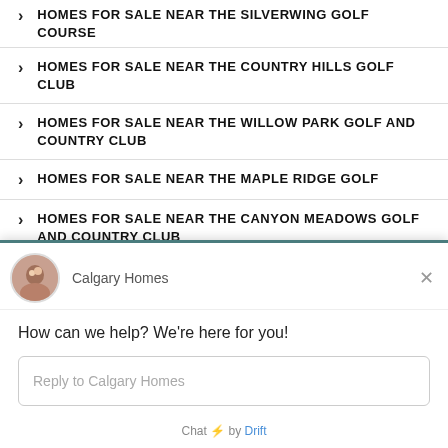HOMES FOR SALE NEAR THE SILVERWING GOLF COURSE
HOMES FOR SALE NEAR THE COUNTRY HILLS GOLF CLUB
HOMES FOR SALE NEAR THE WILLOW PARK GOLF AND COUNTRY CLUB
HOMES FOR SALE NEAR THE MAPLE RIDGE GOLF
HOMES FOR SALE NEAR THE CANYON MEADOWS GOLF AND COUNTRY CLUB
HOMES FOR SALE NEAR THE COUNTRY CLUB OF THE
[Figure (screenshot): Chat widget from Calgary Homes showing greeting 'How can we help? We're here for you!' with a reply text input field and 'Chat by Drift' footer]